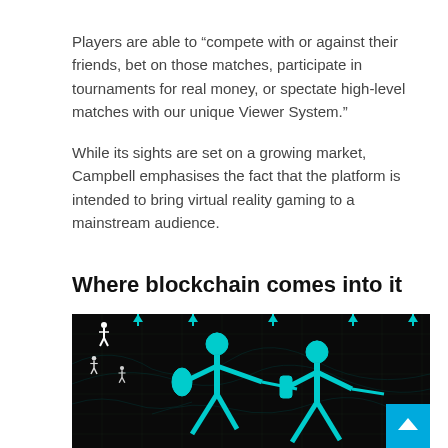Players are able to “compete with or against their friends, bet on those matches, participate in tournaments for real money, or spectate high-level matches with our unique Viewer System.”
While its sights are set on a growing market, Campbell emphasises the fact that the platform is intended to bring virtual reality gaming to a mainstream audience.
Where blockchain comes into it
[Figure (illustration): Dark background illustration showing two cyan/turquoise warrior figures fencing with swords on a dark map/grid background. Small white human silhouette icons are visible in the upper left area. A blue scroll-to-top button with an up arrow is in the bottom right corner.]